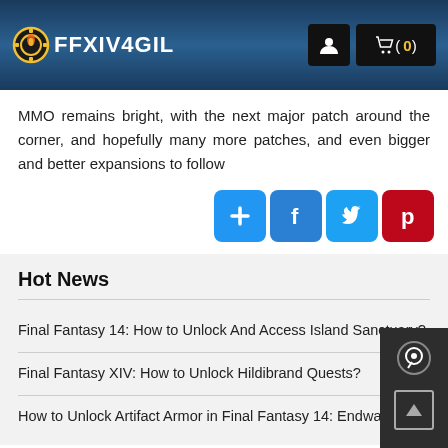FFXIV4GIL — logo header with user and cart icons
MMO remains bright, with the next major patch around the corner, and hopefully many more patches, and even bigger and better expansions to follow
[Figure (other): Social share buttons: blue plus (+), Facebook (f), Twitter bird, Pinterest (p)]
Hot News
Final Fantasy 14: How to Unlock And Access Island Sanctuary?
Final Fantasy XIV: How to Unlock Hildibrand Quests?
How to Unlock Artifact Armor in Final Fantasy 14: Endwalker?